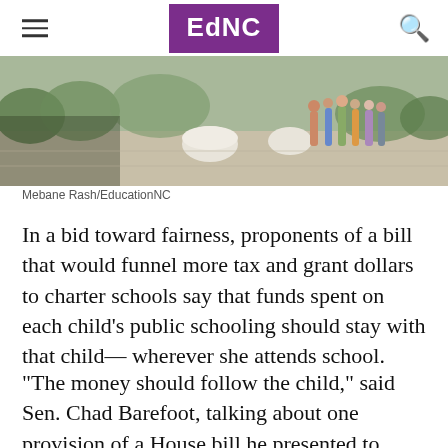EdNC
[Figure (photo): Outdoor photo showing students/people gathered on a school campus plaza area with planters and trees in the background.]
Mebane Rash/EducationNC
In a bid toward fairness, proponents of a bill that would funnel more tax and grant dollars to charter schools say that funds spent on each child’s public schooling should stay with that child— wherever she attends school.
“The money should follow the child,” said Sen. Chad Barefoot, talking about one provision of a House bill he presented to Senate Finance